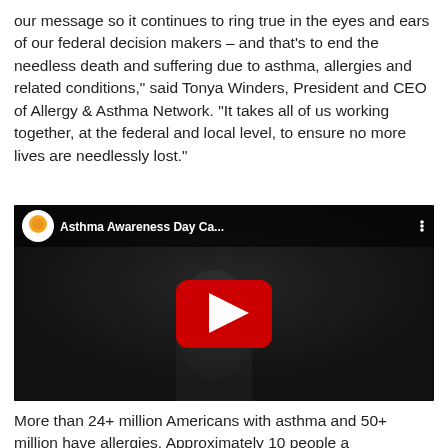our message so it continues to ring true in the eyes and ears of our federal decision makers – and that's to end the needless death and suffering due to asthma, allergies and related conditions," said Tonya Winders, President and CEO of Allergy & Asthma Network. "It takes all of us working together, at the federal and local level, to ensure no more lives are needlessly lost."
[Figure (screenshot): YouTube video thumbnail showing a dark scene with a person at a podium. The video title reads 'Asthma Awareness Day Ca...' with the Allergy & Asthma Network logo in the top left corner and a red YouTube play button in the center.]
More than 24+ million Americans with asthma and 50+ million have allergies. Approximately 10 people a